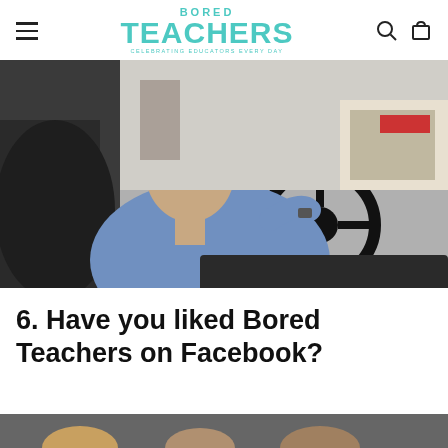BORED TEACHERS — CELEBRATING EDUCATORS EVERY DAY
[Figure (photo): Man in blue long-sleeve shirt driving a classic car, reaching one arm across the steering wheel, photographed from the passenger side in an urban setting]
6. Have you liked Bored Teachers on Facebook?
[Figure (photo): Partial bottom strip showing tops of heads of people]